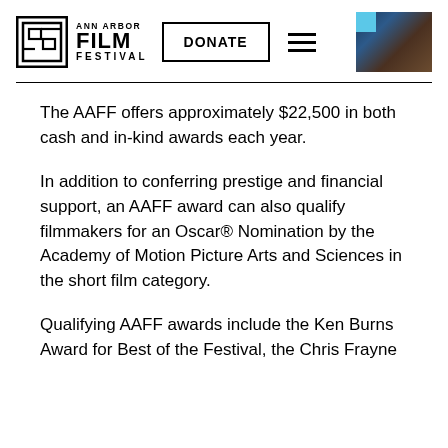Ann Arbor Film Festival | DONATE
The AAFF offers approximately $22,500 in both cash and in-kind awards each year.
In addition to conferring prestige and financial support, an AAFF award can also qualify filmmakers for an Oscar® Nomination by the Academy of Motion Picture Arts and Sciences in the short film category.
Qualifying AAFF awards include the Ken Burns Award for Best of the Festival, the Chris Frayne